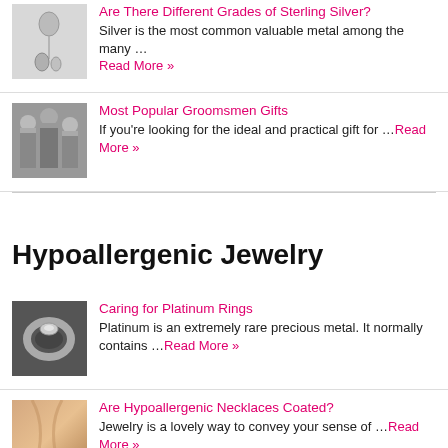[Figure (photo): Silver jewelry pendant on chain]
Are There Different Grades of Sterling Silver?
Silver is the most common valuable metal among the many …
Read More »
[Figure (photo): Groomsmen in suits]
Most Popular Groomsmen Gifts
If you're looking for the ideal and practical gift for …Read More »
Hypoallergenic Jewelry
[Figure (photo): Platinum ring close-up]
Caring for Platinum Rings
Platinum is an extremely rare precious metal. It normally contains …Read More »
[Figure (photo): Necklace on skin]
Are Hypoallergenic Necklaces Coated?
Jewelry is a lovely way to convey your sense of …Read More »
[Figure (photo): Gold nugget/material]
Difference Between Rose Gold and Yellow Gold
Gold is a naturally occurring substance with an estimated